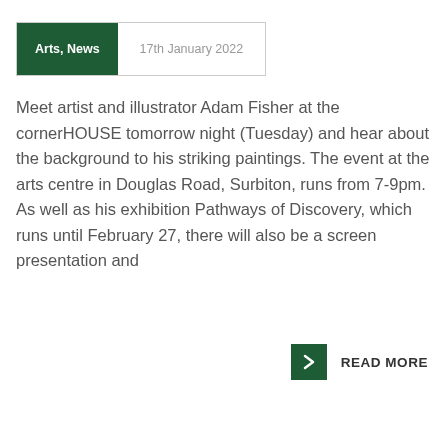Arts, News | 17th January 2022
Meet artist and illustrator Adam Fisher at the cornerHOUSE tomorrow night (Tuesday) and hear about the background to his striking paintings. The event at the arts centre in Douglas Road, Surbiton, runs from 7-9pm. As well as his exhibition Pathways of Discovery, which runs until February 27, there will also be a screen presentation and
READ MORE